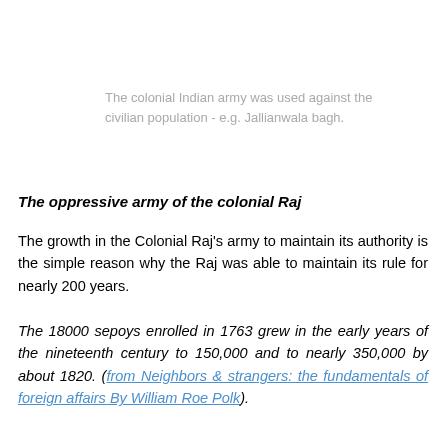The colonial Indian army was used against the civilian population - e.g. Jallianwala bagh.
The oppressive army of the colonial Raj
The growth in the Colonial Raj's army to maintain its authority is the simple reason why the Raj was able to maintain its rule for nearly 200 years.
The 18000 sepoys enrolled in 1763 grew in the early years of the nineteenth century to 150,000 and to nearly 350,000 by about 1820. (from Neighbors & strangers: the fundamentals of foreign affairs By William Roe Polk).